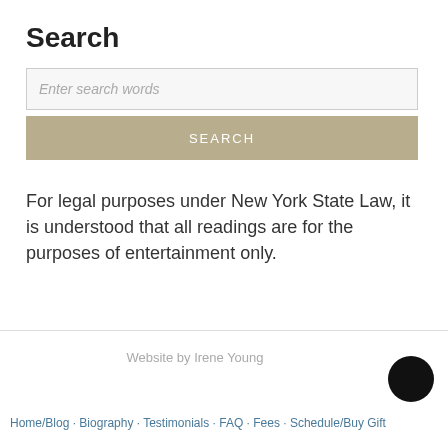Search
Enter search words
SEARCH
For legal purposes under New York State Law, it is understood that all readings are for the purposes of entertainment only.
Website by Irene Young
Home/Blog · Biography · Testimonials · FAQ · Fees · Schedule/Buy Gift